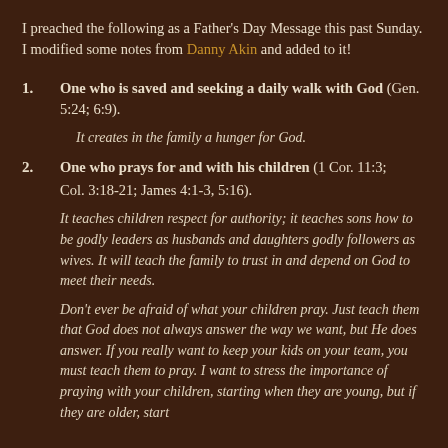I preached the following as a Father's Day Message this past Sunday. I modified some notes from Danny Akin and added to it!
1. One who is saved and seeking a daily walk with God (Gen. 5:24; 6:9).
It creates in the family a hunger for God.
2. One who prays for and with his children (1 Cor. 11:3; Col. 3:18-21; James 4:1-3, 5:16).
It teaches children respect for authority; it teaches sons how to be godly leaders as husbands and daughters godly followers as wives. It will teach the family to trust in and depend on God to meet their needs.
Don't ever be afraid of what your children pray. Just teach them that God does not always answer the way we want, but He does answer. If you really want to keep your kids on your team, you must teach them to pray. I want to stress the importance of praying with your children, starting when they are young, but if they are older, start